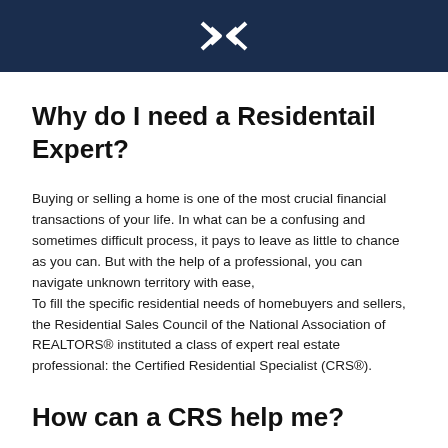[Figure (logo): CRS diamond/chevron logo in white on dark navy background header bar]
Why do I need a Residentail Expert?
Buying or selling a home is one of the most crucial financial transactions of your life. In what can be a confusing and sometimes difficult process, it pays to leave as little to chance as you can. But with the help of a professional, you can navigate unknown territory with ease,
To fill the specific residential needs of homebuyers and sellers, the Residential Sales Council of the National Association of REALTORS® instituted a class of expert real estate professional: the Certified Residential Specialist (CRS®).
How can a CRS help me?